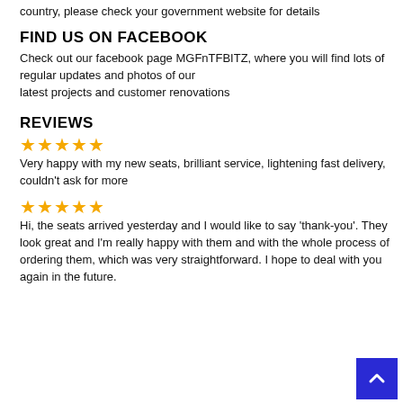country, please check your government website for details
FIND US ON FACEBOOK
Check out our facebook page MGFnTFBITZ, where you will find lots of regular updates and photos of our latest projects and customer renovations
REVIEWS
[Figure (other): Five gold stars rating]
Very happy with my new seats, brilliant service, lightening fast delivery, couldn’t ask for more
[Figure (other): Five gold stars rating]
Hi, the seats arrived yesterday and I would like to say ‘thank-you’. They look great and I’m really happy with them and with the whole process of ordering them, which was very straightforward. I hope to deal with you again in the future.